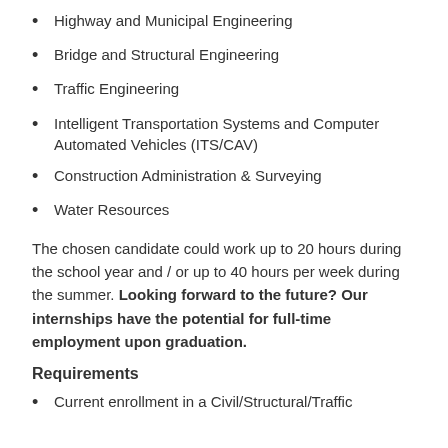Highway and Municipal Engineering
Bridge and Structural Engineering
Traffic Engineering
Intelligent Transportation Systems and Computer Automated Vehicles (ITS/CAV)
Construction Administration & Surveying
Water Resources
The chosen candidate could work up to 20 hours during the school year and / or up to 40 hours per week during the summer. Looking forward to the future? Our internships have the potential for full-time employment upon graduation.
Requirements
Current enrollment in a Civil/Structural/Traffic